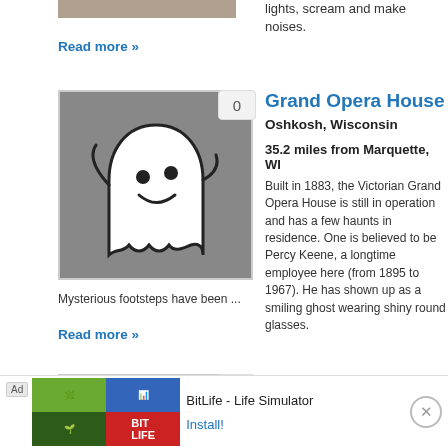[Figure (photo): Partial top image strip visible at top of page]
lights, scream and make noises.
Read more »
[Figure (illustration): Ghost illustration on grey background with badge showing 0]
Grand Opera House
Oshkosh, Wisconsin
35.2 miles from Marquette, WI
Built in 1883, the Victorian Grand Opera House is still in operation and has a few haunts in residence. One is believed to be Percy Keene, a longtime employee here (from 1895 to 1967). He has shown up as a smiling ghost wearing shiny round glasses.
Mysterious footsteps have been ...
Read more »
[Figure (illustration): Ghost illustration on grey background with badge showing 0]
New Moon Cafe
Oshkosh, Wisconsin
[Figure (other): Ad banner: BitLife - Life Simulator with Install! button]